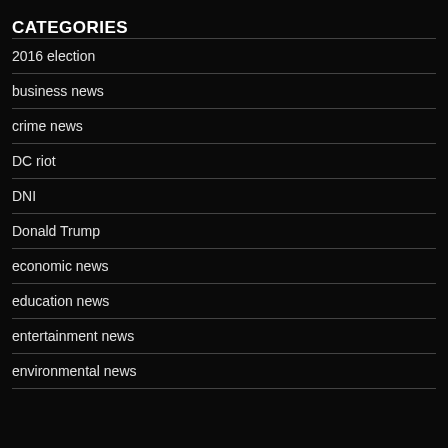CATEGORIES
2016 election
business news
crime news
DC riot
DNI
Donald Trump
economic news
education news
entertainment news
environmental news